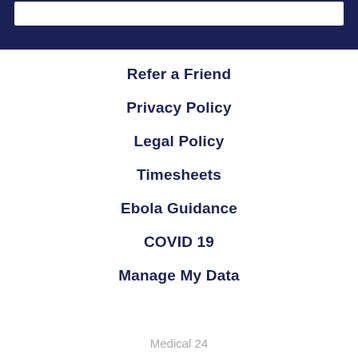Refer a Friend
Privacy Policy
Legal Policy
Timesheets
Ebola Guidance
COVID 19
Manage My Data
Medical 24